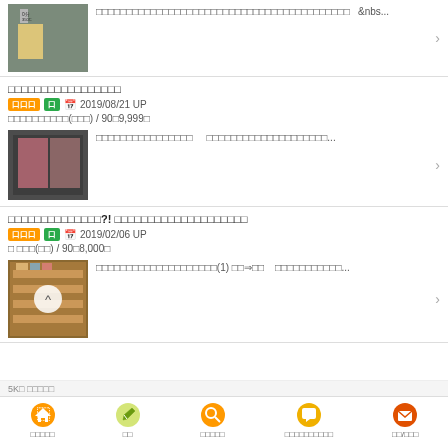[Figure (screenshot): Partial top listing with street photo thumbnail showing signage, followed by Japanese text and &nbs... with arrow]
□□□□□□□□□□□□□□□□□ | 口口口 口 2019/08/21 UP | □□□□□□□□□□(□□□) / 90□9,999□
[Figure (photo): Thumbnail of shop exterior with posters/signage]
□□□□□□□□□□□□□□□□□□□□□□□□□□□□□□□□□□□□□□□□□...
□□□□□□□□□□□□□□?! □□□□□□□□□□□□□□□□□□□□ | 口口口 口 2019/02/06 UP | □ □□□(□□) / 90□8,000□
[Figure (photo): Thumbnail of shop display with back-to-top circle arrow]
□□□□□□□□□□□□□□□□□□□□(1) □□⇒□□  □□□□□□□□□□□...
5K□ □□□□□  □□  □□□□□  □□□□□□□□□□  □□□□□  □□/□□□